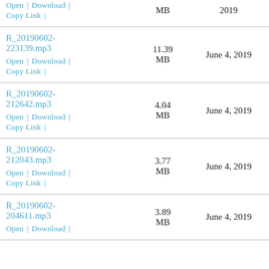| File | Size | Date |
| --- | --- | --- |
| Open | Download | Copy Link | | MB | 2019 |
| R_20190602-223139.mp3
Open | Download | Copy Link | | 11.39 MB | June 4, 2019 |
| R_20190602-212642.mp3
Open | Download | Copy Link | | 4.04 MB | June 4, 2019 |
| R_20190602-212043.mp3
Open | Download | Copy Link | | 3.77 MB | June 4, 2019 |
| R_20190602-204611.mp3
Open | Download | | 3.89 MB | June 4, 2019 |